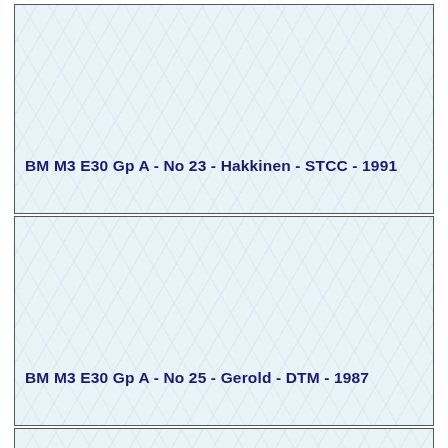BM M3 E30 Gp A - No 23 - Hakkinen - STCC - 1991
BM M3 E30 Gp A - No 25 - Gerold - DTM - 1987